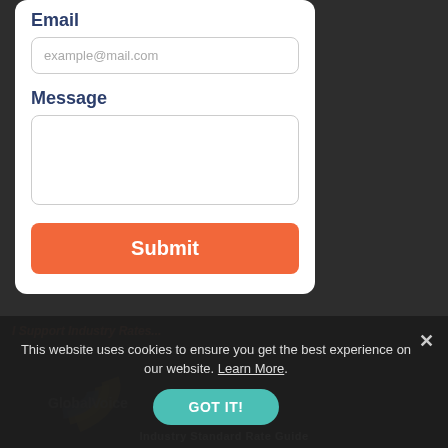Email
example@mail.com
Message
Submit
I Support Industry Rates...
Industry Standard Rate Guide
This website uses cookies to ensure you get the best experience on our website. Learn More.
GOT IT!